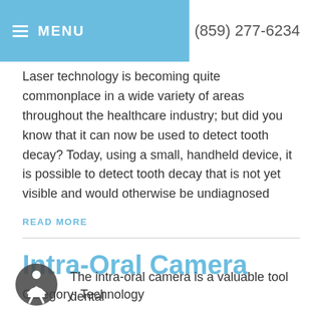≡ MENU   (859) 277-6234
Laser technology is becoming quite commonplace in a wide variety of areas throughout the healthcare industry; but did you know that it can now be used to detect tooth decay? Today, using a small, handheld device, it is possible to detect tooth decay that is not yet visible and would otherwise be undiagnosed
READ MORE
Intra-Oral Camera
Category: Technology
The intra-oral camera is a valuable tool dental